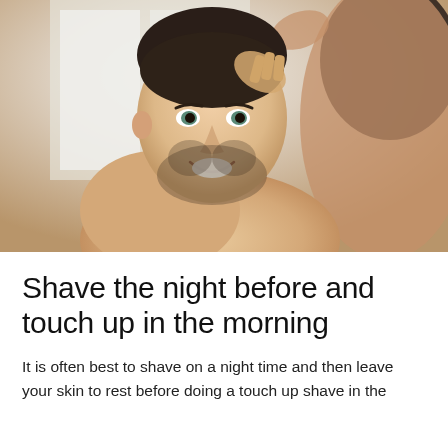[Figure (photo): A smiling young man with short dark hair and light beard, shirtless, touching his hair with one hand while looking in a bathroom mirror. The background is bright and softly lit.]
Shave the night before and touch up in the morning
It is often best to shave on a night time and then leave your skin to rest before doing a touch up shave in the